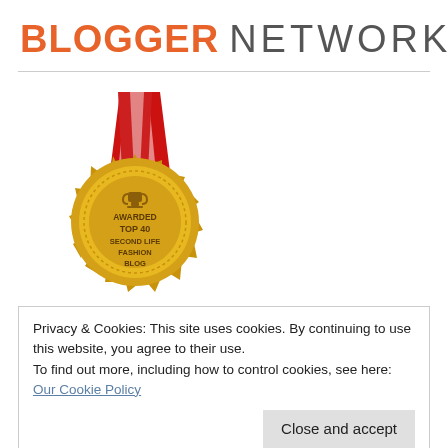BLOGGER NETWORK
[Figure (illustration): Gold award medal with red and white ribbon, text reads: AWARDED TOP 40 SECOND LIFE FASHION BLOG, with a trophy icon at top]
Privacy & Cookies: This site uses cookies. By continuing to use this website, you agree to their use.
To find out more, including how to control cookies, see here: Our Cookie Policy
Close and accept